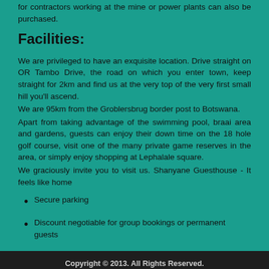for contractors working at the mine or power plants can also be purchased.
Facilities:
We are privileged to have an exquisite location. Drive straight on OR Tambo Drive, the road on which you enter town, keep straight for 2km and find us at the very top of the very first small hill you'll ascend.
We are 95km from the Groblersbrug border post to Botswana.
Apart from taking advantage of the swimming pool, braai area and gardens, guests can enjoy their down time on the 18 hole golf course, visit one of the many private game reserves in the area, or simply enjoy shopping at Lephalale square.
We graciously invite you to visit us. Shanyane Guesthouse - It feels like home
Secure parking
Discount negotiable for group bookings or permanent guests
Copyright © 2013. All Rights Reserved.
Designed by Pixelstack.